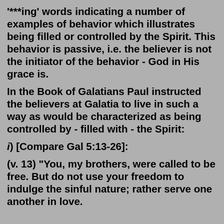'***ing' words indicating a number of examples of behavior which illustrates being filled or controlled by the Spirit. This behavior is passive, i.e. the believer is not the initiator of the behavior - God in His grace is.
In the Book of Galatians Paul instructed the believers at Galatia to live in such a way as would be characterized as being controlled by - filled with - the Spirit:
i) [Compare Gal 5:13-26]:
(v. 13) "You, my brothers, were called to be free. But do not use your freedom to indulge the sinful nature; rather serve one another in love.